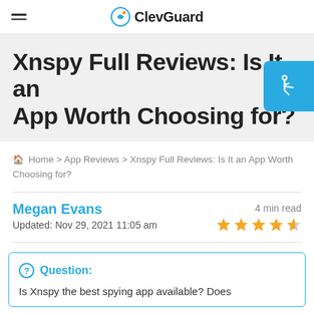ClevGuard
Xnspy Full Reviews: Is It an App Worth Choosing for?
Home > App Reviews > Xnspy Full Reviews: Is It an App Worth Choosing for?
Megan Evans  4 min read
Updated: Nov 29, 2021 11:05 am  ★★★★½
Question: Is Xnspy the best spying app available? Does